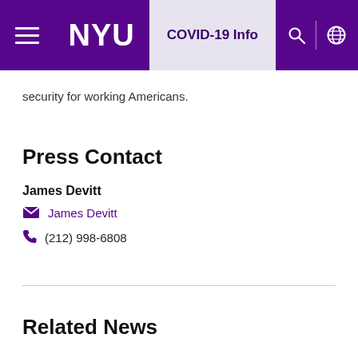NYU | COVID-19 Info
security for working Americans.
Press Contact
James Devitt
James Devitt
(212) 998-6808
Related News